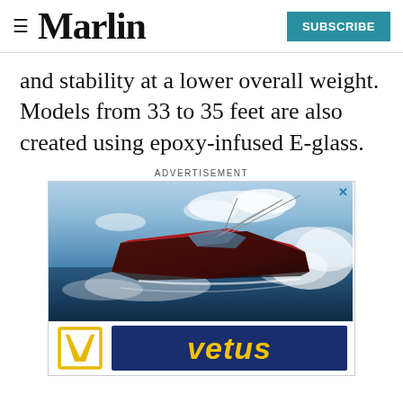Marlin | SUBSCRIBE
and stability at a lower overall weight. Models from 33 to 35 feet are also created using epoxy-infused E-glass.
ADVERTISEMENT
[Figure (photo): Advertisement showing a red sport fishing boat speeding through ocean waves with white spray, and the Vetus logo below with a yellow V icon and 'vetus' in yellow italic text on a dark blue background.]